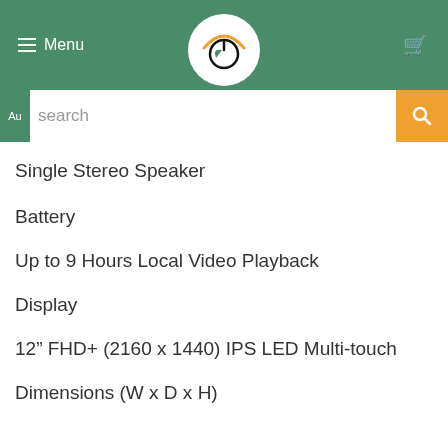[Figure (screenshot): Website header with green background, hamburger Menu button on left, circular logo in center, cart icon on right]
search
Single Stereo Speaker
Battery
Up to 9 Hours Local Video Playback
Display
12" FHD+ (2160 x 1440) IPS LED Multi-touch
Dimensions (W x D x H)